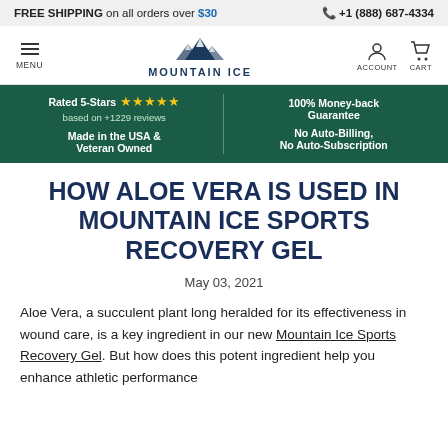FREE SHIPPING on all orders over $30 | +1 (888) 687-4334
[Figure (logo): Mountain Ice logo with mountain peaks icon and brand name MOUNTAIN ICE, along with MENU, ACCOUNT, and CART navigation icons]
Rated 5-Stars based on +1229 reviews | Made in the USA & Veteran Owned | 100% Money-back Guarantee | No Auto-Billing, No Auto-Subscription
HOW ALOE VERA IS USED IN MOUNTAIN ICE SPORTS RECOVERY GEL
May 03, 2021
Aloe Vera, a succulent plant long heralded for its effectiveness in wound care, is a key ingredient in our new Mountain Ice Sports Recovery Gel. But how does this potent ingredient help you enhance athletic performance and improve recovery times?